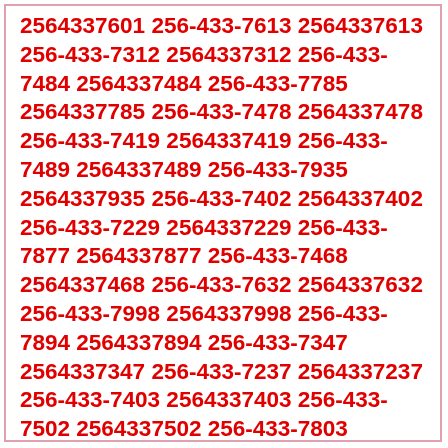2564337601 256-433-7613 2564337613 256-433-7312 2564337312 256-433-7484 2564337484 256-433-7785 2564337785 256-433-7478 2564337478 256-433-7419 2564337419 256-433-7489 2564337489 256-433-7935 2564337935 256-433-7402 2564337402 256-433-7229 2564337229 256-433-7877 2564337877 256-433-7468 2564337468 256-433-7632 2564337632 256-433-7998 2564337998 256-433-7894 2564337894 256-433-7347 2564337347 256-433-7237 2564337237 256-433-7403 2564337403 256-433-7502 2564337502 256-433-7803 2564337803 256-433-7522 2564337522 256-433-7666 2564337666 256-433-7010 2564337010 256-433-7794 2564337794 256-433-7718 2564337718 256-433-7480 2564337480 256-433-7746 2564337746 256-433-7449 2564337449 256-433-7384 2564337384 256-433-7436 2564337436 256-433-7926 2564337926 256-433-7943 2564337943 256-433-7089 2564337089 256-433-7287 2564337287 256-